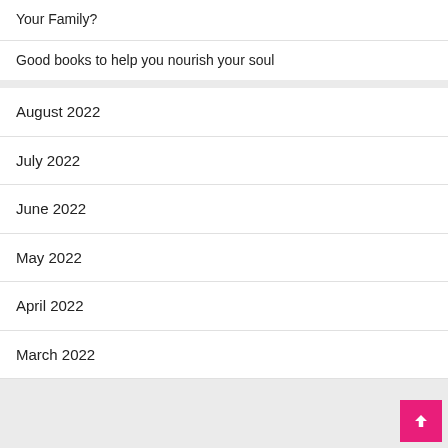Your Family?
Good books to help you nourish your soul
August 2022
July 2022
June 2022
May 2022
April 2022
March 2022